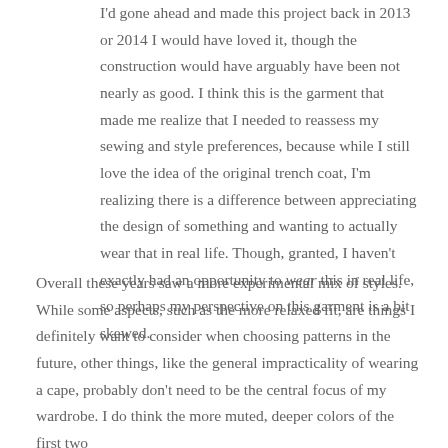I'd gone ahead and made this project back in 2013 or 2014 I would have loved it, though the construction would have arguably have been not nearly as good. I think this is the garment that made me realize that I needed to reassess my sewing and style preferences, because while I still love the idea of the original trench coat, I'm realizing there is a difference between appreciating the design of something and wanting to actually wear that in real life. Though, granted, I haven't exactly had an opportunity to wear this in real life, so perhaps my perspective on this garment is a bit skewed.
Overall these years saw a more experimental mix of styles. While some aspects, such as the more relaxed fit, are things I definitely want to consider when choosing patterns in the future, other things, like the general impracticality of wearing a cape, probably don't need to be the central focus of my wardrobe. I do think the more muted, deeper colors of the first two